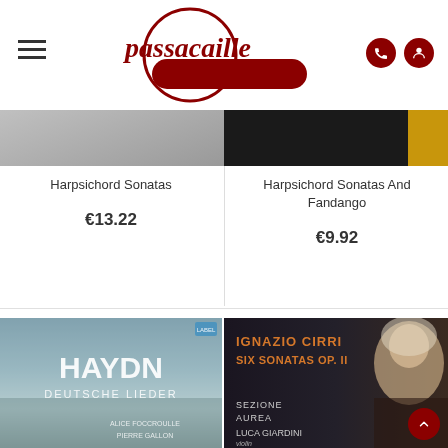[Figure (logo): Passacaille music store logo — dark red circle with cursive 'passacaille' text and a dark red pill/bar shape behind, with phone and person icons on the right.]
[Figure (photo): Partial album cover strip — left half shows a gray/silver grainy surface, right half is very dark (black album cover) with a small gold element at far right.]
Harpsichord Sonatas
€13.22
Harpsichord Sonatas And Fandango
€9.92
[Figure (photo): Album cover: Haydn Deutsche Lieder. Misty blue-gray atmospheric landscape background with large white bold text HAYDN and smaller text DEUTSCHE LIEDER. Bottom right credits: Alice Foccroulle, Pierre Gallon.]
[Figure (photo): Album cover: Ignazio Cirri Six Sonatas Op. II. Dark background with portrait of classical-era woman on right side. Orange text reads IGNAZIO CIRRI SIX SONATAS OP. II. Below: Sezione Aurea, Luca Giardini, violin.]